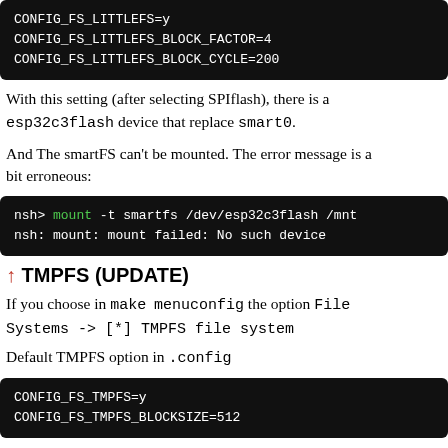[Figure (screenshot): Code block showing CONFIG_FS_LITTLEFS=y, CONFIG_FS_LITTLEFS_BLOCK_FACTOR=4, CONFIG_FS_LITTLEFS_BLOCK_CYCLE=200]
With this setting (after selecting SPIflash), there is a esp32c3flash device that replace smart0.
And The smartFS can't be mounted. The error message is a bit erroneous:
[Figure (screenshot): Terminal output: nsh> mount -t smartfs /dev/esp32c3flash /mnt
nsh: mount: mount failed: No such device]
↑ TMPFS (UPDATE)
If you choose in make menuconfig the option File Systems -> [*] TMPFS file system
Default TMPFS option in .config
[Figure (screenshot): Code block showing CONFIG_FS_TMPFS=y, CONFIG_FS_TMPFS_BLOCKSIZE=512]